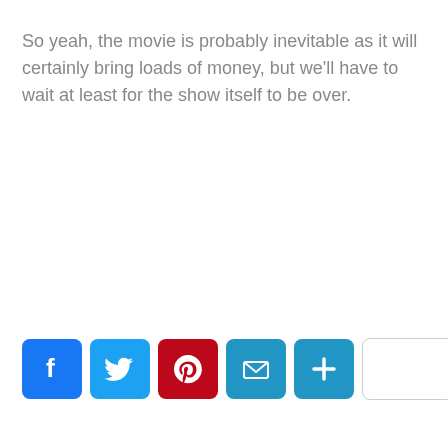So yeah, the movie is probably inevitable as it will certainly bring loads of money, but we'll have to wait at least for the show itself to be over.
[Figure (infographic): Social sharing buttons row: Facebook (blue), Twitter (light blue), Pinterest (red), Email (blue envelope), More/Plus (blue), and one empty white rounded rectangle button.]